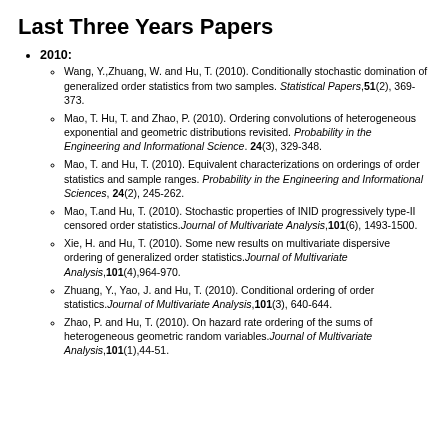Last Three Years Papers
2010:
Wang, Y.,Zhuang, W. and Hu, T. (2010). Conditionally stochastic domination of generalized order statistics from two samples. Statistical Papers, 51(2), 369-373.
Mao, T. Hu, T. and Zhao, P. (2010). Ordering convolutions of heterogeneous exponential and geometric distributions revisited. Probability in the Engineering and Informational Science. 24(3), 329-348.
Mao, T. and Hu, T. (2010). Equivalent characterizations on orderings of order statistics and sample ranges. Probability in the Engineering and Informational Sciences, 24(2), 245-262.
Mao, T.and Hu, T. (2010). Stochastic properties of INID progressively type-II censored order statistics. Journal of Multivariate Analysis, 101(6), 1493-1500.
Xie, H. and Hu, T. (2010). Some new results on multivariate dispersive ordering of generalized order statistics. Journal of Multivariate Analysis, 101(4),964-970.
Zhuang, Y., Yao, J. and Hu, T. (2010). Conditional ordering of order statistics. Journal of Multivariate Analysis, 101(3), 640-644.
Zhao, P. and Hu, T. (2010). On hazard rate ordering of the sums of heterogeneous geometric random variables. Journal of Multivariate Analysis, 101(1),44-51.